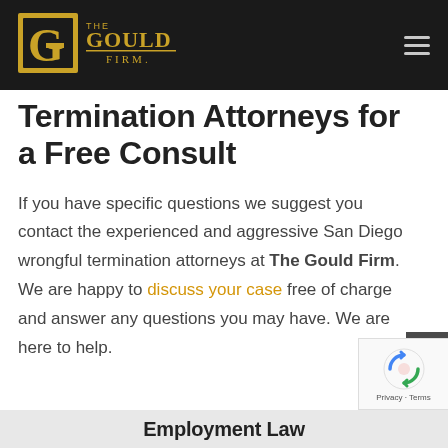The Gould Firm
Termination Attorneys for a Free Consult
If you have specific questions we suggest you contact the experienced and aggressive San Diego wrongful termination attorneys at The Gould Firm. We are happy to discuss your case free of charge and answer any questions you may have. We are here to help.
Employment Law